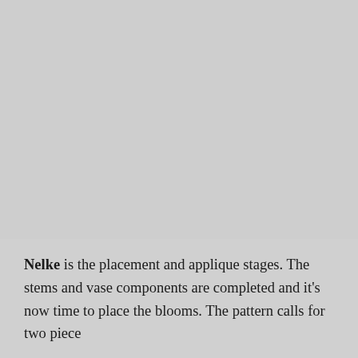[Figure (photo): Large grey/blank image area occupying the upper portion of the page]
Nelke is the placement and applique stages. The stems and vase components are completed and it's now time to place the blooms. The pattern calls for two piece